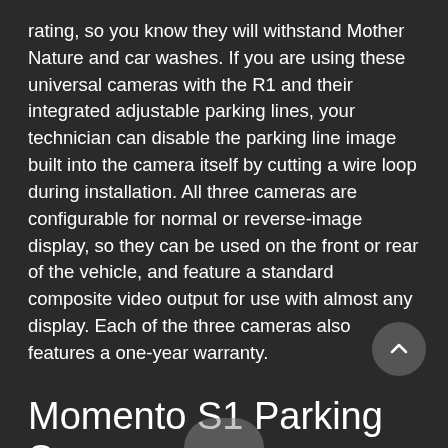rating, so you know they will withstand Mother Nature and car washes. If you are using these universal cameras with the R1 and their integrated adjustable parking lines, your technician can disable the parking line image built into the camera itself by cutting a wire loop during installation. All three cameras are configurable for normal or reverse-image display, so they can be used on the front or rear of the vehicle, and feature a standard composite video output for use with almost any display. Each of the three cameras also features a one-year warranty.
Momento S1 Parking Sensors